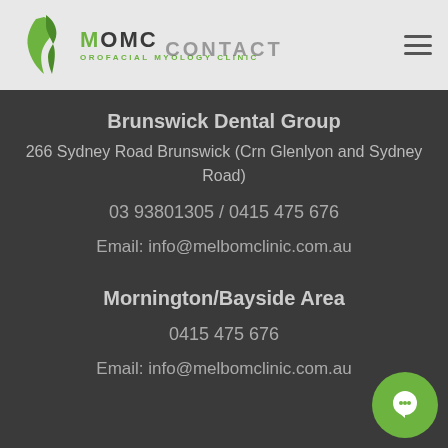[Figure (logo): MOMC Orofacial Myology Clinic logo with stylized green face silhouette]
CONTACT
Brunswick Dental Group
266 Sydney Road Brunswick (Crn Glenlyon and Sydney Road)
03 93801305 / 0415 475 676
Email: info@melbomclinic.com.au
Mornington/Bayside Area
0415 475 676
Email: info@melbomclinic.com.au